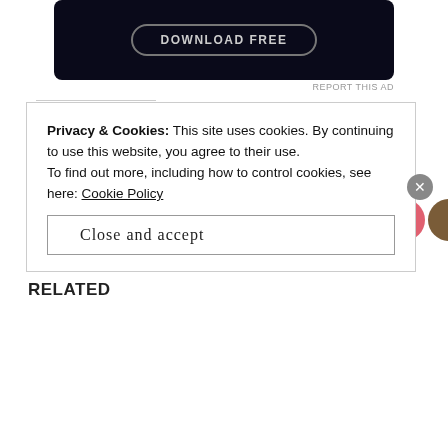[Figure (screenshot): Dark advertisement banner with rounded button outline]
REPORT THIS AD
SHARE THIS:
[Figure (illustration): Twitter and Facebook share icons as gold circles with white logos]
[Figure (illustration): Like button and strip of 11 blogger avatar profile pictures]
13 bloggers like this.
RELATED
Privacy & Cookies: This site uses cookies. By continuing to use this website, you agree to their use.
To find out more, including how to control cookies, see here: Cookie Policy
Close and accept